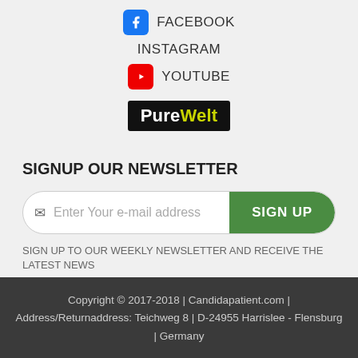FACEBOOK
INSTAGRAM
YOUTUBE
[Figure (logo): PureWelt logo — black background with white 'Pure' and yellow-green 'Welt' text]
SIGNUP OUR NEWSLETTER
Enter Your e-mail address  SIGN UP
SIGN UP TO OUR WEEKLY NEWSLETTER AND RECEIVE THE LATEST NEWS
Copyright © 2017-2018 | Candidapatient.com | Address/Returnaddress: Teichweg 8 | D-24955 Harrislee - Flensburg | Germany